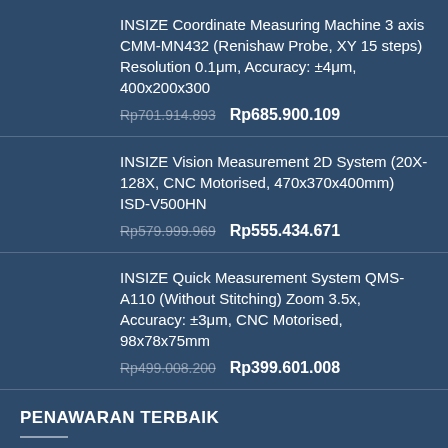INSIZE Coordinate Measuring Machine 3 axis CMM-MN432 (Renishaw Probe, XY 15 steps) Resolution 0.1μm, Accuracy: ±4μm, 400x200x300
Rp701.914.893  Rp685.900.109
INSIZE Vision Measurement 2D System (20X-128X, CNC Motorised, 470x370x400mm) ISD-V500HN
Rp579.999.969  Rp555.434.671
INSIZE Quick Measurement System QMS-A110 (Without Stitching) Zoom 3.5x, Accuracy: ±3μm, CNC Motorised, 98x78x75mm
Rp499.008.200  Rp399.601.008
PENAWARAN TERBAIK
MITUTOYO Compact Dial Test Indicator 5mm (1mm) 1044S